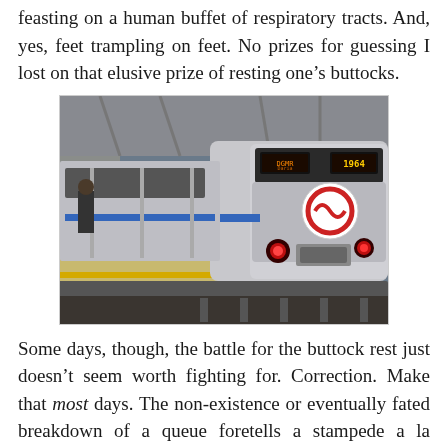feasting on a human buffet of respiratory tracts. And, yes, feet trampling on feet. No prizes for guessing I lost on that elusive prize of resting one's buttocks.
[Figure (photo): A Delhi Metro train at a station platform. The silver train is shown from a front-angled view with red headlights glowing, an LED destination board showing '1964', the Delhi Metro logo (circular red and white emblem) on the front car, and a blue stripe along the side. A person stands on the platform to the left. The station has a large covered roof structure.]
Some days, though, the battle for the buttock rest just doesn't seem worth fighting for. Correction. Make that most days. The non-existence or eventually fated breakdown of a queue foretells a stampede a la zombie attack as soon as the